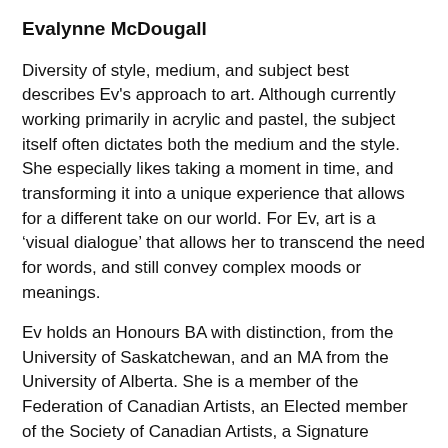Evalynne McDougall
Diversity of style, medium, and subject best describes Ev's approach to art. Although currently working primarily in acrylic and pastel, the subject itself often dictates both the medium and the style. She especially likes taking a moment in time, and transforming it into a unique experience that allows for a different take on our world. For Ev, art is a ‘visual dialogue’ that allows her to transcend the need for words, and still convey complex moods or meanings.
Ev holds an Honours BA with distinction, from the University of Saskatchewan, and an MA from the University of Alberta. She is a member of the Federation of Canadian Artists, an Elected member of the Society of Canadian Artists, a Signature member of the Northwest Pastel Society, and the Pastel Society of America, a Master pastelist with Pastel Artists Canada, and a Distinguished member of the Pastel Society of the West Coast. Her work can be found in galleries and private collections throughout North America.